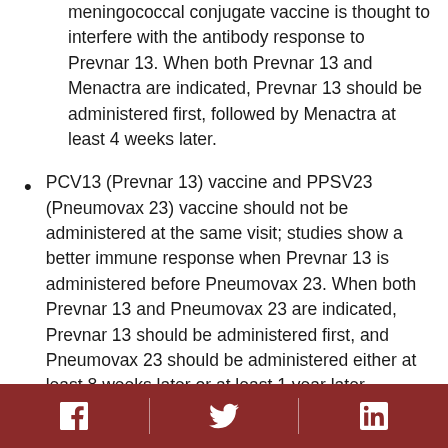meningococcal conjugate vaccine is thought to interfere with the antibody response to Prevnar 13. When both Prevnar 13 and Menactra are indicated, Prevnar 13 should be administered first, followed by Menactra at least 4 weeks later.
PCV13 (Prevnar 13) vaccine and PPSV23 (Pneumovax 23) vaccine should not be administered at the same visit; studies show a better immune response when Prevnar 13 is administered before Pneumovax 23. When both Prevnar 13 and Pneumovax 23 are indicated, Prevnar 13 should be administered first, and Pneumovax 23 should be administered either at least 8 weeks later or at least 1 year later, depending on the age and health conditions of
Facebook | Twitter | LinkedIn